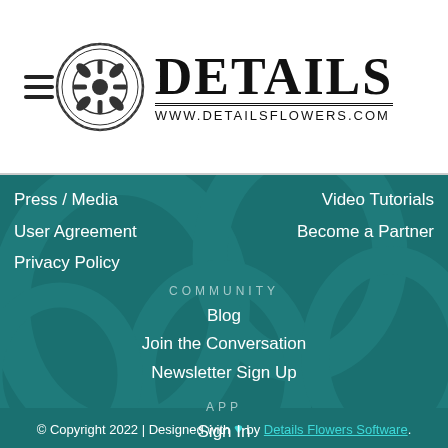[Figure (logo): Details Flowers logo with circular ornamental medallion and brand name DETAILS with www.detailsflowers.com URL]
Press / Media
Video Tutorials
User Agreement
Become a Partner
Privacy Policy
COMMUNITY
Blog
Join the Conversation
Newsletter Sign Up
APP
Sign In
© Copyright 2022 | Designed with ♥ by Details Flowers Software.